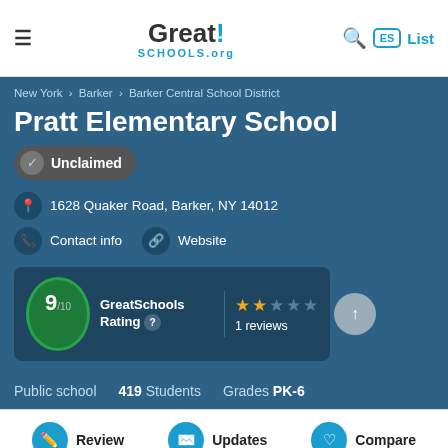GreatSchools.org — ES List
New York › Barker › Barker Central School District
Pratt Elementary School
Unclaimed
1628 Quaker Road, Barker, NY 14012
Contact info   Website
GreatSchools Rating 9/10 — 1 reviews, 2 stars out of 5
Public school   419 Students   Grades PK-6
Review   Updates   Compare